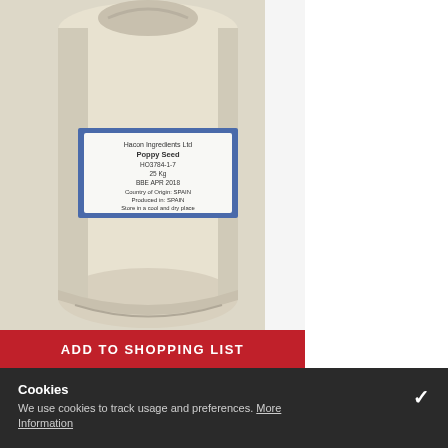[Figure (photo): A large white/cream colored sack/bag of Poppy Seed product with a blue label. The label reads: Hacon Ingredients Ltd, Poppy Seed, HO3784-1-7, 25 Kg, BBE APR 2018, Country of Origin: SPAIN, Produced in: SPAIN, Store in a cool and dry place.]
ADD TO SHOPPING LIST
Cookies
We use cookies to track usage and preferences. More Information